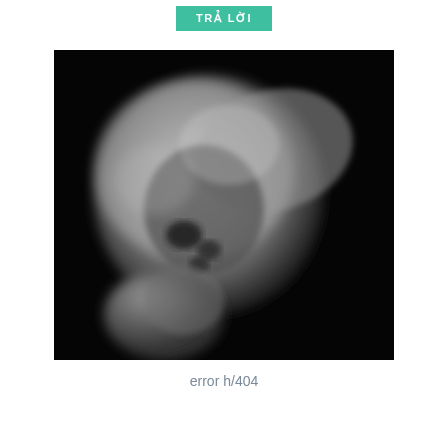TRẢ LỜI
[Figure (photo): Grayscale medical scan (likely MRI or CT) showing a cross-section of a human head/brain against a black background. The tissue appears in shades of gray with darker regions indicating internal structures.]
error h/404